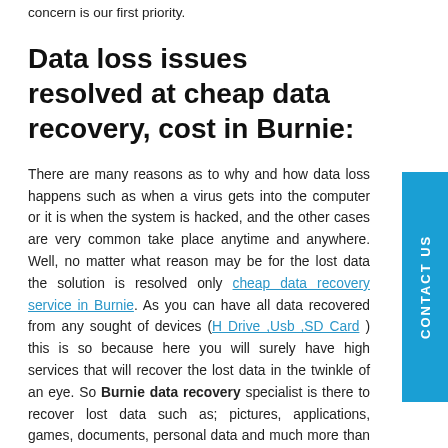concern is our first priority.
Data loss issues resolved at cheap data recovery, cost in Burnie:
There are many reasons as to why and how data loss happens such as when a virus gets into the computer or it is when the system is hacked, and the other cases are very common take place anytime and anywhere. Well, no matter what reason may be for the lost data the solution is resolved only cheap data recovery service in Burnie. As you can have all data recovered from any sought of devices (H Drive ,Usb ,SD Card ) this is so because here you will surely have high services that will recover the lost data in the twinkle of an eye. So Burnie data recovery specialist is there to recover lost data such as; pictures, applications, games, documents, personal data and much more than just this. Well the common problems and issue faced with users are mentioned below